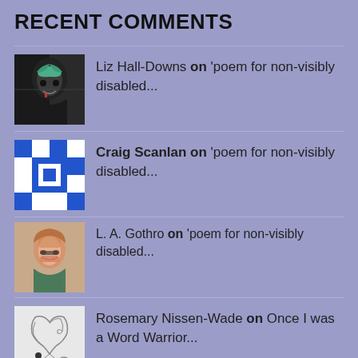RECENT COMMENTS
Liz Hall-Downs on 'poem for non-visibly disabled...
Craig Scanlan on 'poem for non-visibly disabled...
L. A. Gothro on 'poem for non-visibly disabled...
Rosemary Nissen-Wade on Once I was a Word Warrior...
Liz Hall-Downs on Okay. Trans men are men. Trans...
ARCHIVES